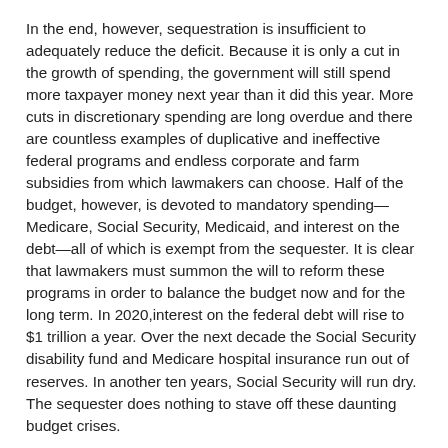In the end, however, sequestration is insufficient to adequately reduce the deficit. Because it is only a cut in the growth of spending, the government will still spend more taxpayer money next year than it did this year. More cuts in discretionary spending are long overdue and there are countless examples of duplicative and ineffective federal programs and endless corporate and farm subsidies from which lawmakers can choose. Half of the budget, however, is devoted to mandatory spending—Medicare, Social Security, Medicaid, and interest on the debt—all of which is exempt from the sequester. It is clear that lawmakers must summon the will to reform these programs in order to balance the budget now and for the long term. In 2020,interest on the federal debt will rise to $1 trillion a year. Over the next decade the Social Security disability fund and Medicare hospital insurance run out of reserves. In another ten years, Social Security will run dry. The sequester does nothing to stave off these daunting budget crises.
The sequester does, however, prove that government spending can be cut without triggering the end of the world. It shows the crisis mongering on the left for what it is—a scar...